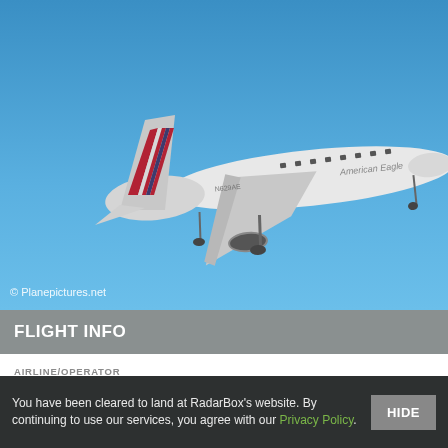[Figure (photo): American Eagle regional jet (Embraer ERJ-145) in flight against a blue sky, with American Airlines livery and tail markings. Aircraft registration N629AE visible on fuselage.]
© Planepictures.net
FLIGHT INFO
AIRLINE/OPERATOR
American Airlines
| DEPARTURE TAXI TIME | ARRIVAL TAXI TIME |
| --- | --- |
| 1m | - |
You have been cleared to land at RadarBox's website. By continuing to use our services, you agree with our Privacy Policy.